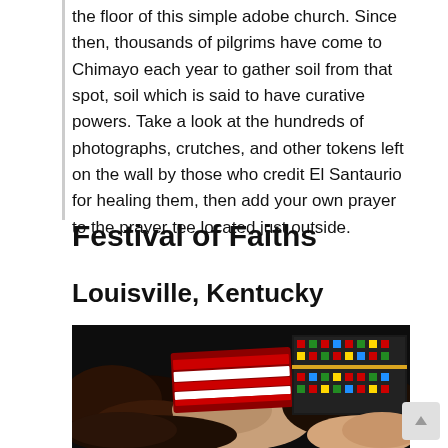the floor of this simple adobe church. Since then, thousands of pilgrims have come to Chimayo each year to gather soil from that spot, soil which is said to have curative powers. Take a look at the hundreds of photographs, crutches, and other tokens left on the wall by those who credit El Santaurio for healing them, then add your own prayer to the prayer tee located just outside.
Festival of Faiths
Louisville, Kentucky
[Figure (photo): Multiple hands of different ethnicities joined together, with one person wearing a colorful traditional patterned garment with red and white stripes and decorative embroidery.]